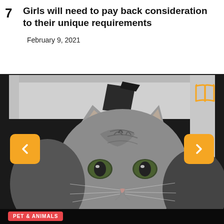7  Girls will need to pay back consideration to their unique requirements
February 9, 2021
[Figure (photo): Close-up photo of a grey tabby cat with green eyes looking directly at the camera, inside what appears to be a cage or enclosure with white shelving visible in the background. Navigation arrows (left and right) overlaid on the image sides, and a book icon in the top right corner.]
PET & ANIMALS